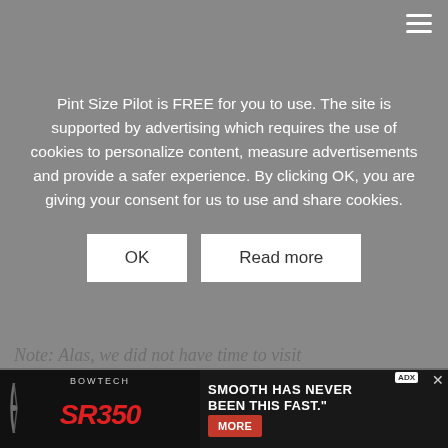Pint Size Pilot is FREE for you to use. The site is supported by advertising which requires the use of cookies to personalize content, measure advertisements and provide a safer experience. By clicking OK, you are giving your consent for us to use and share cookies.
[Figure (screenshot): Cookie consent overlay with OK and Read more buttons over a website page. Below the overlay is a content area with slider dots and partial article text. At the bottom is a Bowtech SR350 advertisement banner.]
Note: Alas, we did not have time to visit